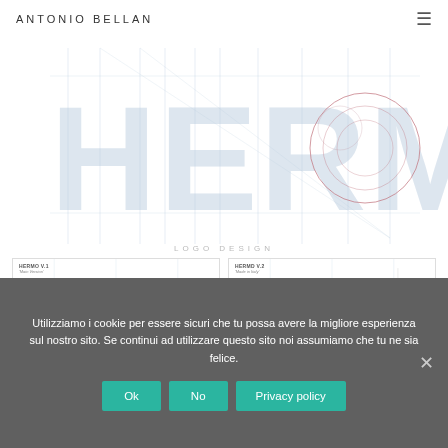ANTONIO BELLAN
[Figure (illustration): HERMO logo design construction grid with vertical guide lines, circles and diagonal lines showing the logo geometry. Large letters H-E-R-M-O in light gray/blue with red construction circles visible around the O letter.]
LOGO DESIGN
[Figure (illustration): Two logo versions side by side. HERMO V.1 'Main Version' showing HERMO text with corner blue squares on a white background with grid lines. HERMO V.2 'Made in Italy' showing HERMO text above MADE IN ITALY text with corner blue squares.]
Utilizziamo i cookie per essere sicuri che tu possa avere la migliore esperienza sul nostro sito. Se continui ad utilizzare questo sito noi assumiamo che tu ne sia felice.
Ok
No
Privacy policy